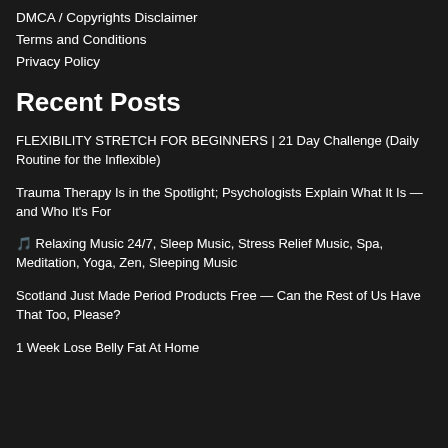DMCA / Copyrights Disclaimer
Terms and Conditions
Privacy Policy
Recent Posts
FLEXIBILITY STRETCH FOR BEGINNERS | 21 Day Challenge (Daily Routine for the Inflexible)
Trauma Therapy Is in the Spotlight; Psychologists Explain What It Is — and Who It's For
🎵 Relaxing Music 24/7, Sleep Music, Stress Relief Music, Spa, Meditation, Yoga, Zen, Sleeping Music
Scotland Just Made Period Products Free — Can the Rest of Us Have That Too, Please?
1 Week Lose Belly Fat At Home